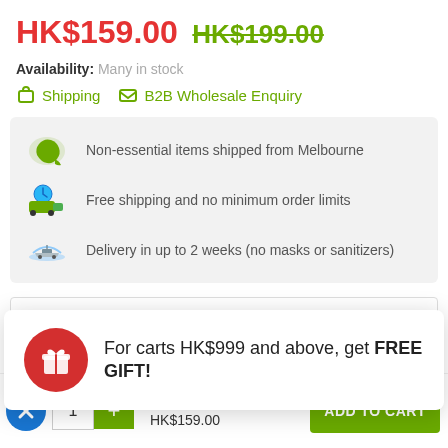HK$159.00  HK$199.00
Availability: Many in stock
Shipping   B2B Wholesale Enquiry
Non-essential items shipped from Melbourne
Free shipping and no minimum order limits
Delivery in up to 2 weeks (no masks or sanitizers)
1
For carts HK$999 and above, get FREE GIFT!
Palmers Coconut Oil Formula Body Lotion 250ml
1  +  HK$199.00  HK$159.00  ADD TO CART